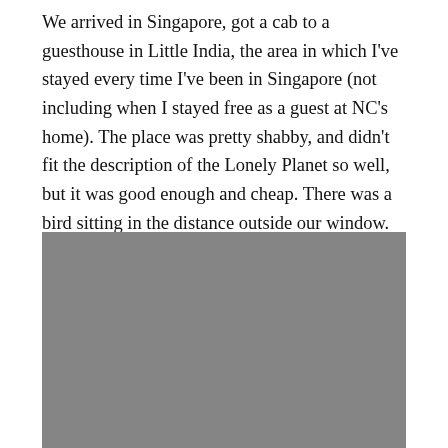We arrived in Singapore, got a cab to a guesthouse in Little India, the area in which I've stayed every time I've been in Singapore (not including when I stayed free as a guest at NC's home). The place was pretty shabby, and didn't fit the description of the Lonely Planet so well, but it was good enough and cheap. There was a bird sitting in the distance outside our window.
[Figure (photo): A grey/placeholder photograph, approximately the lower half of the page, showing an outdoor scene (details not visible due to image rendering as solid grey).]